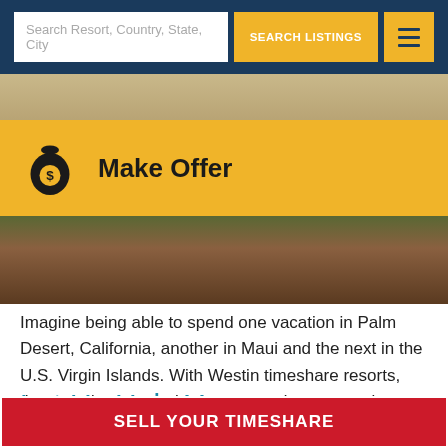Search Resort, Country, State, City | SEARCH LISTINGS
[Figure (screenshot): Hero background image of a resort outdoor area with tropical/desert landscape]
Make Offer
Imagine being able to spend one vacation in Palm Desert, California, another in Maui and the next in the U.S. Virgin Islands. With Westin timeshare resorts, these and more can become your dream vacation destinations.
Let Us Help You
SELL YOUR TIMESHARE